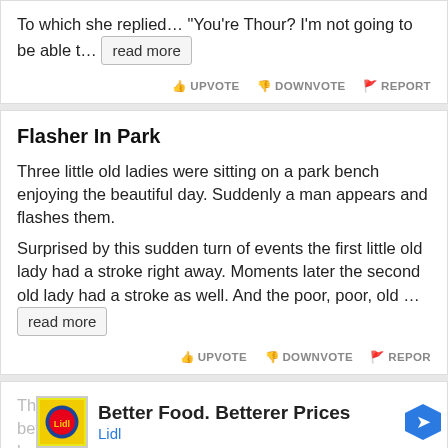To which she replied… "You're Thour? I'm not going to be able t… read more
UPVOTE  DOWNVOTE  REPORT
Flasher In Park
Three little old ladies were sitting on a park bench enjoying the beautiful day. Suddenly a man appears and flashes them.
Surprised by this sudden turn of events the first little old lady had a stroke right away. Moments later the second old lady had a stroke as well. And the poor, poor, old … read more
UPVOTE  DOWNVOTE  REPORT
The  ner befc  rite beca  joke
[Figure (screenshot): Lidl advertisement: Better Food. Betterer Prices with Lidl logo and blue arrow icon]